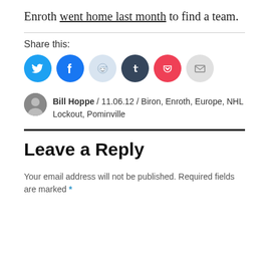Enroth went home last month to find a team.
Share this:
[Figure (infographic): Six social sharing icon buttons: Twitter (cyan), Facebook (blue), Reddit (light blue-gray), Tumblr (dark navy), Pocket (red), Email (light gray)]
Bill Hoppe / 11.06.12 / Biron, Enroth, Europe, NHL Lockout, Pominville
Leave a Reply
Your email address will not be published. Required fields are marked *